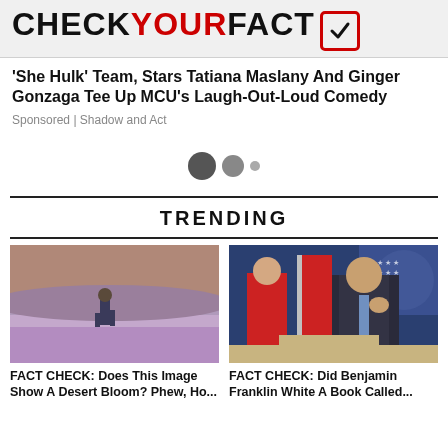CHECKYOURFACT
'She Hulk' Team, Stars Tatiana Maslany And Ginger Gonzaga Tee Up MCU's Laugh-Out-Loud Comedy
Sponsored | Shadow and Act
[Figure (other): Three loading indicator dots (two large dark circles and one small dot)]
TRENDING
[Figure (photo): Person running through a field of purple flowers in a desert landscape]
FACT CHECK: Does This Image Show A Desert Bloom? Phew, Ho...
[Figure (photo): Woman in red dress and man in suit at a White House press briefing podium]
FACT CHECK: Did Benjamin Franklin White A Book Called...